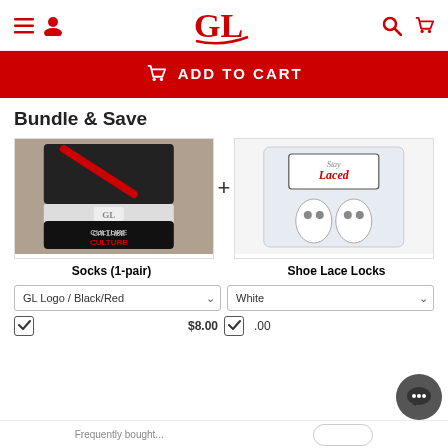GL (logo) — navigation header with menu, user, search, cart icons
ADD TO CART
Bundle & Save
[Figure (photo): Photo of socks product — GL Logo / Black/Red socks (1-pair), folded pairs showing CULTURE text]
[Figure (photo): Photo of Shoe Lace Locks product — white lace locks in clear packaging with 'Stay Laced' branding]
Socks (1-pair)
Shoe Lace Locks
GL Logo / Black/Red
White
$8.00